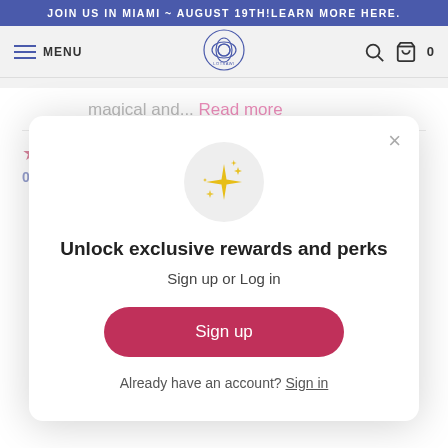JOIN US IN MIAMI ~ AUGUST 19TH! LEARN MORE HERE.
MENU [logo] [search] [bag] 0
magical and... Read more
★★★★★  A.  08/10/2021  I love Gamechanger SO
[Figure (screenshot): Modal popup with sparkle icon, heading 'Unlock exclusive rewards and perks', subtext 'Sign up or Log in', a pink 'Sign up' button, and 'Already have an account? Sign in' link.]